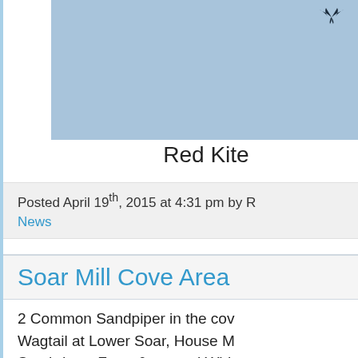[Figure (photo): Photo of a bird (Red Kite) in flight against a light blue sky background]
Red Kite
Posted April 19th, 2015 at 4:31 pm by R
News
Soar Mill Cove Area
2 Common Sandpiper in the cov Wagtail at Lower Soar, House M Southdown Farm & several Whit